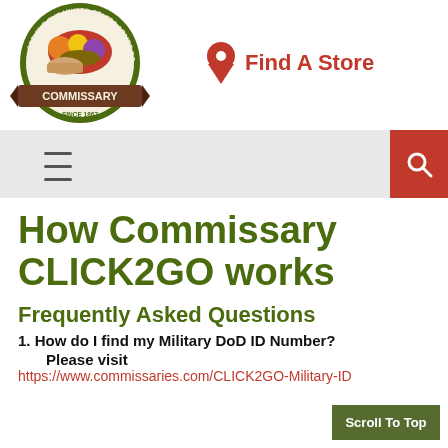[Figure (logo): Commissary logo — circular seal with vegetables/bread imagery and brown ribbon banner reading COMMISSARY, SINCE 1867]
Find A Store
[Figure (infographic): Navigation bar with hamburger menu icon on left and red search button with magnifying glass icon on right]
How Commissary CLICK2GO works
Frequently Asked Questions
1. How do I find my Military DoD ID Number?
Please visit
https://www.commissaries.com/CLICK2GO-Military-ID